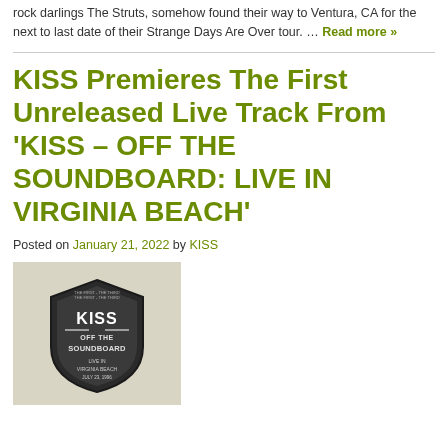rock darlings The Struts, somehow found their way to Ventura, CA for the next to last date of their Strange Days Are Over tour. … Read more »
KISS Premieres The First Unreleased Live Track From 'KISS – OFF THE SOUNDBOARD: LIVE IN VIRGINIA BEACH'
Posted on January 21, 2022 by KISS
[Figure (photo): KISS Off The Soundboard album cover showing a shield/badge logo with KISS branding and 'OFF THE SOUNDBOARD' text, live in Virginia Beach]